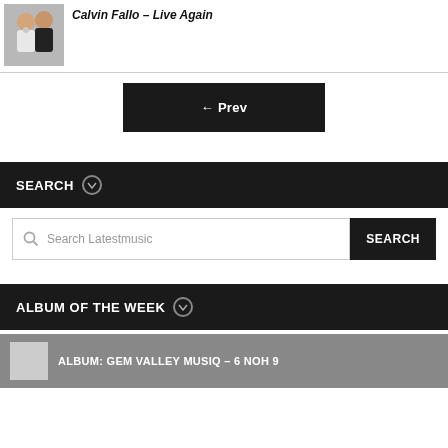Calvin Fallo – Live Again
[Figure (photo): Two men posing, one wearing white top with spiral graphic and one wearing black oversized top]
← Prev
SEARCH
Search Latestmusic
ALBUM OF THE WEEK
ALBUM: GEM VALLEY MUSIQ – 6 NOH 9